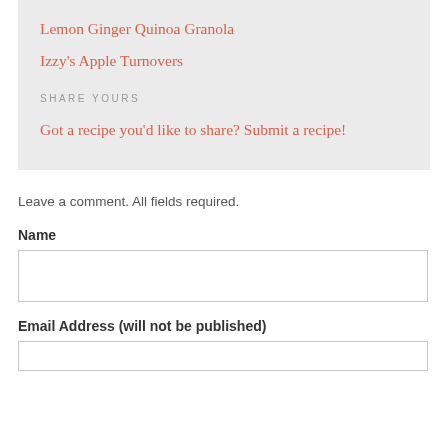Lemon Ginger Quinoa Granola
Izzy's Apple Turnovers
SHARE YOURS
Got a recipe you'd like to share? Submit a recipe!
Leave a comment. All fields required.
Name
Email Address (will not be published)